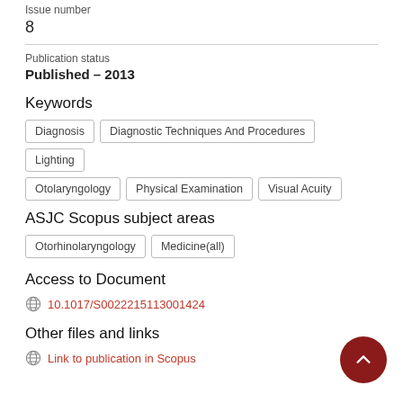Issue number
8
Publication status
Published – 2013
Keywords
Diagnosis
Diagnostic Techniques And Procedures
Lighting
Otolaryngology
Physical Examination
Visual Acuity
ASJC Scopus subject areas
Otorhinolaryngology
Medicine(all)
Access to Document
10.1017/S0022215113001424
Other files and links
Link to publication in Scopus